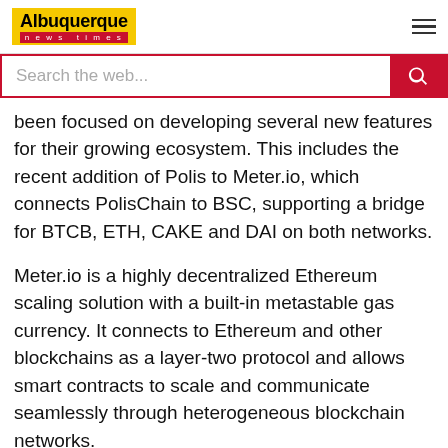Albuquerque news times
Search the web...
been focused on developing several new features for their growing ecosystem. This includes the recent addition of Polis to Meter.io, which connects PolisChain to BSC, supporting a bridge for BTCB, ETH, CAKE and DAI on both networks.
Meter.io is a highly decentralized Ethereum scaling solution with a built-in metastable gas currency. It connects to Ethereum and other blockchains as a layer-two protocol and allows smart contracts to scale and communicate seamlessly through heterogeneous blockchain networks.
Read more about Meter.io here.
Moreover, in October 2021, the Polis team released Polis